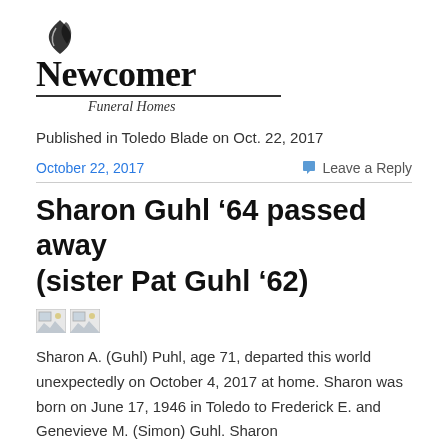[Figure (logo): Newcomer Funeral Homes logo with leaf icon, bold serif text 'Newcomer', horizontal rule, and italic 'Funeral Homes' subtitle]
Published in Toledo Blade on Oct. 22, 2017
October 22, 2017
Leave a Reply
Sharon Guhl '64 passed away (sister Pat Guhl '62)
[Figure (illustration): Two broken/missing image icons side by side]
Sharon A. (Guhl) Puhl, age 71, departed this world unexpectedly on October 4, 2017 at home. Sharon was born on June 17, 1946 in Toledo to Frederick E. and Genevieve M. (Simon) Guhl. Sharon